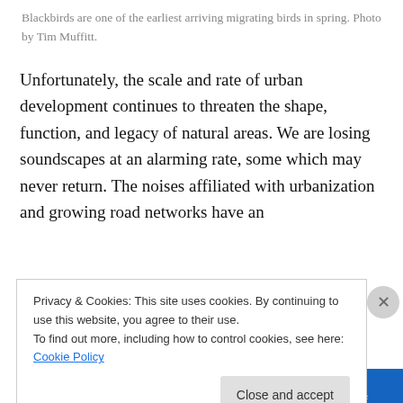Blackbirds are one of the earliest arriving migrating birds in spring. Photo by Tim Muffitt.
Unfortunately, the scale and rate of urban development continues to threaten the shape, function, and legacy of natural areas. We are losing soundscapes at an alarming rate, some which may never return. The noises affiliated with urbanization and growing road networks have an
Privacy & Cookies: This site uses cookies. By continuing to use this website, you agree to their use.
To find out more, including how to control cookies, see here: Cookie Policy
Close and accept
[Figure (other): Advertisement banner with Browning branding in blue]